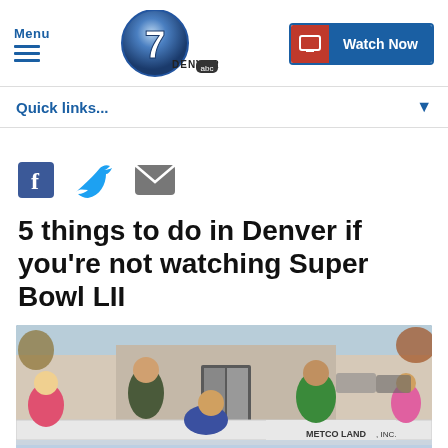Menu | Denver 7 ABC | Watch Now
Quick links...
[Figure (screenshot): Social share icons: Facebook (blue F), Twitter (blue bird), Email (grey envelope)]
5 things to do in Denver if you're not watching Super Bowl LII
[Figure (photo): People ice skating at an outdoor rink in Denver. Multiple people visible, one child bent over skating. METCO LAND INC sign visible on rink barrier.]